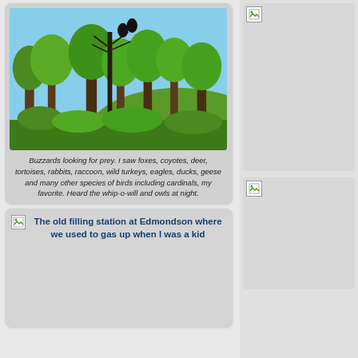[Figure (photo): Photo of buzzards perched in a tree surrounded by green trees and brush, blue sky in background]
Buzzards looking for prey. I saw foxes, coyotes, deer, tortoises, rabbits, raccoon, wild turkeys, eagles, ducks, geese and many other species of birds including cardinals, my favorite. Heard the whip-o-will and owls at night.
[Figure (photo): The old filling station at Edmondson where we used to gas up when I was a kid — image broken/not loaded]
The old filling station at Edmondson where we used to gas up when I was a kid
[Figure (photo): Side column top image — broken/not loaded]
[Figure (photo): Side column bottom image — broken/not loaded]